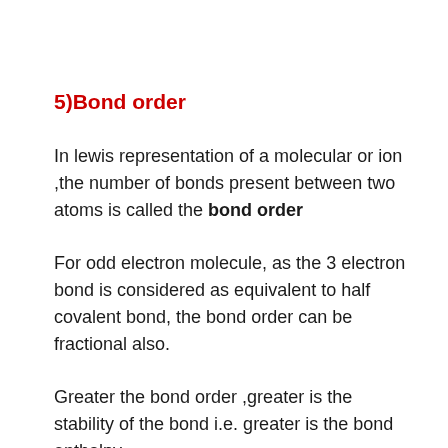5)Bond order
In lewis representation of a molecular or ion ,the number of bonds present between two atoms is called the bond order
For odd electron molecule, as the 3 electron bond is considered as equivalent to half covalent bond, the bond order can be fractional also.
Greater the bond order ,greater is the stability of the bond i.e. greater is the bond enthalpy.
Greater the bond order, shorter is the bond length.